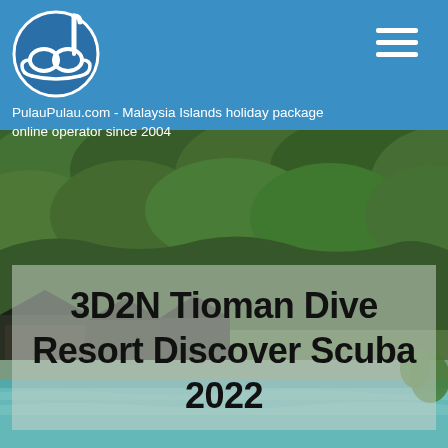PulauPulau.com - Malaysia Islands holiday package online operator since 2004
[Figure (photo): Aerial or elevated view of a tropical island resort with lush green forested hills, wooden chalets/bungalows near the water, and turquoise sea in the foreground — Tioman Island, Malaysia]
3D2N Tioman Dive Resort Discover Scuba 2022